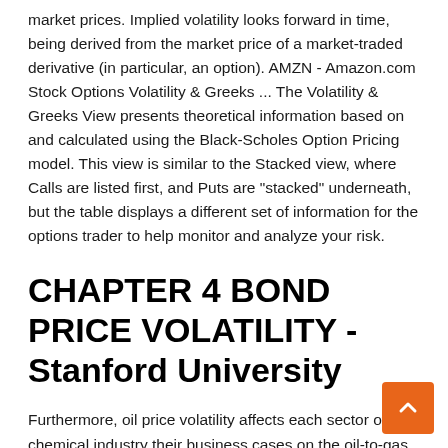market prices. Implied volatility looks forward in time, being derived from the market price of a market-traded derivative (in particular, an option). AMZN - Amazon.com Stock Options Volatility & Greeks ... The Volatility & Greeks View presents theoretical information based on and calculated using the Black-Scholes Option Pricing model. This view is similar to the Stacked view, where Calls are listed first, and Puts are "stacked" underneath, but the table displays a different set of information for the options trader to help monitor and analyze your risk.
CHAPTER 4 BOND PRICE VOLATILITY - Stanford University
Furthermore, oil price volatility affects each sector of the chemical industry their business cases on the oil-to-gas spread, which has changed dramatically. Oil and other financial